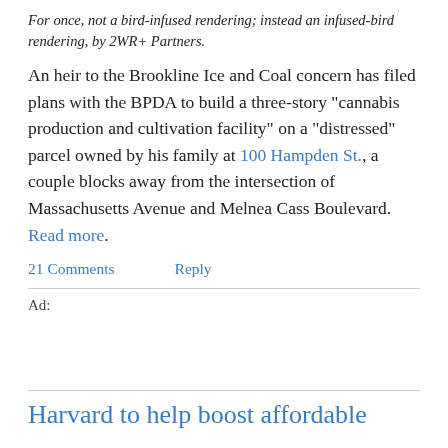For once, not a bird-infused rendering; instead an infused-bird rendering, by 2WR+ Partners.
An heir to the Brookline Ice and Coal concern has filed plans with the BPDA to build a three-story "cannabis production and cultivation facility" on a "distressed" parcel owned by his family at 100 Hampden St., a couple blocks away from the intersection of Massachusetts Avenue and Melnea Cass Boulevard. Read more.
21 Comments   Reply
Ad:
Harvard to help boost affordable